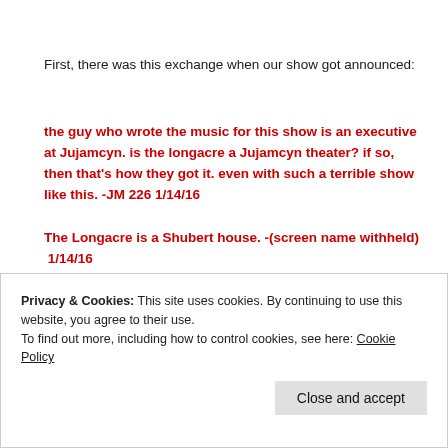First, there was this exchange when our show got announced:
the guy who wrote the music for this show is an executive at Jujamcyn. is the longacre a Jujamcyn theater? if so, then that's how they got it. even with such a terrible show like this. -JM 226 1/14/16
The Longacre is a Shubert house. -(screen name withheld)  1/14/16
why wouldnt his own employer find a theater for his
Privacy & Cookies: This site uses cookies. By continuing to use this website, you agree to their use.
To find out more, including how to control cookies, see here: Cookie Policy
Close and accept
come to fruition, that he/she assumed that all you have to do is